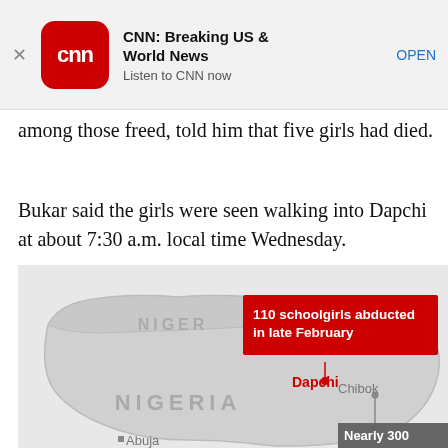[Figure (screenshot): CNN Breaking US & World News app banner with CNN logo, app title, subtitle 'Listen to CNN now', and OPEN button]
among those freed, told him that five girls had died.
Bukar said the girls were seen walking into Dapchi at about 7:30 a.m. local time Wednesday.
[Figure (map): Map of Nigeria showing Dapchi location with red callout box reading '110 schoolgirls abducted in late February', NIGER label to north, NIGERIA label in center, Chibok dot to right, Abuja marker at bottom left, and partial grey box reading 'Nearly 300' at bottom right]